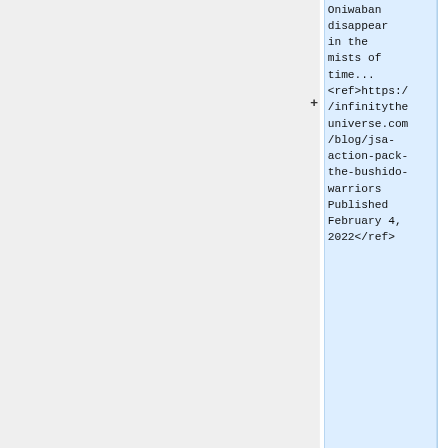[Figure (screenshot): Wiki diff view showing a highlighted blue box on the right side containing wiki markup text: 'Oniwaban disappear in the mists of time... <ref>https://infinitytheuniverse.com/blog/jsa-action-pack-the-bushido-warriors Published February 4, 2022</ref>' with a plus sign to the left indicating an addition. Below are two comparison columns showing '==Profile==' section header and 'Line 11:' vs 'Line 25:' labels, with partial {{Loadout|Li template markup visible.]